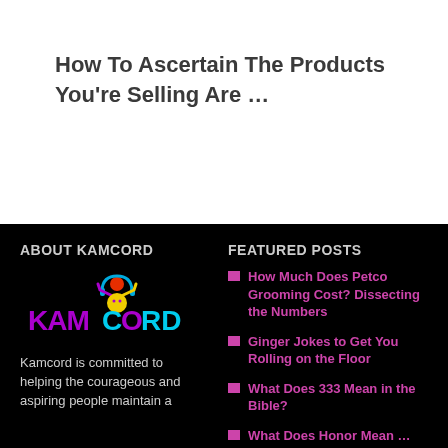How To Ascertain The Products You’re Selling Are …
ABOUT KAMCORD
[Figure (logo): Kamcord logo with colorful icon — stylized person figure in purple, yellow, blue and red colors with text KAMCORD in purple and cyan]
Kamcord is committed to helping the courageous and aspiring people maintain a
FEATURED POSTS
How Much Does Petco Grooming Cost? Dissecting the Numbers
Ginger Jokes to Get You Rolling on the Floor
What Does 333 Mean in the Bible?
What Does Honor Mean …